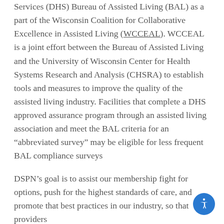Services (DHS) Bureau of Assisted Living (BAL) as a part of the Wisconsin Coalition for Collaborative Excellence in Assisted Living (WCCEAL). WCCEAL is a joint effort between the Bureau of Assisted Living and the University of Wisconsin Center for Health Systems Research and Analysis (CHSRA) to establish tools and measures to improve the quality of the assisted living industry. Facilities that complete a DHS approved assurance program through an assisted living association and meet the BAL criteria for an “abbreviated survey” may be eligible for less frequent BAL compliance surveys
DSPN’s goal is to assist our membership fight for options, push for the highest standards of care, and promote that best practices in our industry, so that providers